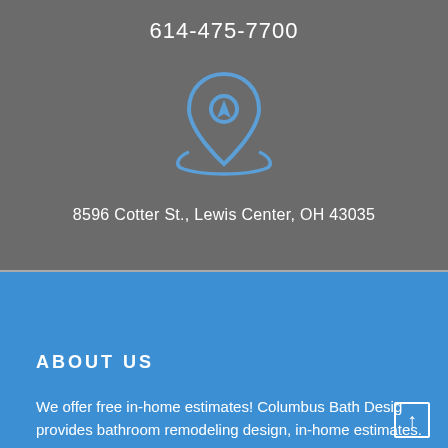614-475-7700
[Figure (illustration): Location pin / map marker icon in blue outline style on grey background]
8596 Cotter St., Lewis Center, OH 43035
ABOUT US
We offer free in-home estimates! Columbus Bath Design provides bathroom remodeling design, in-home estimates.